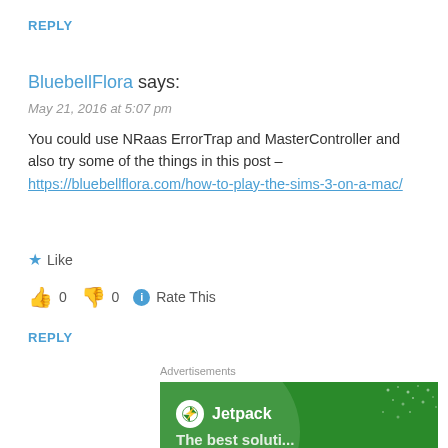REPLY
BluebellFlora says:
May 21, 2016 at 5:07 pm
You could use NRaas ErrorTrap and MasterController and also try some of the things in this post – https://bluebellflora.com/how-to-play-the-sims-3-on-a-mac/
★ Like
👍 0 👎 0 ℹ Rate This
REPLY
Advertisements
[Figure (screenshot): Jetpack advertisement banner with green background showing Jetpack logo and partial text at the bottom]